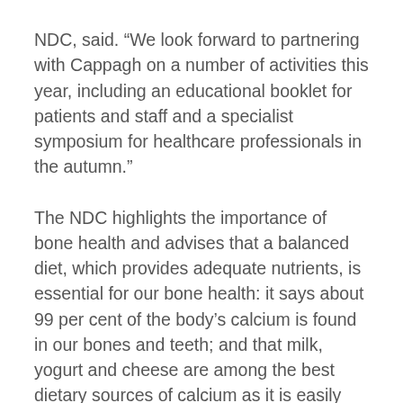NDC, said. “We look forward to partnering with Cappagh on a number of activities this year, including an educational booklet for patients and staff and a specialist symposium for healthcare professionals in the autumn.”
The NDC highlights the importance of bone health and advises that a balanced diet, which provides adequate nutrients, is essential for our bone health: it says about 99 per cent of the body’s calcium is found in our bones and teeth; and that milk, yogurt and cheese are among the best dietary sources of calcium as it is easily absorbed and used by the body.
Since then, this has grown into an innovative collaborative partnership and has involved the NDC, CHF and NOHC working together across a number of activities to promote and raise awareness on the